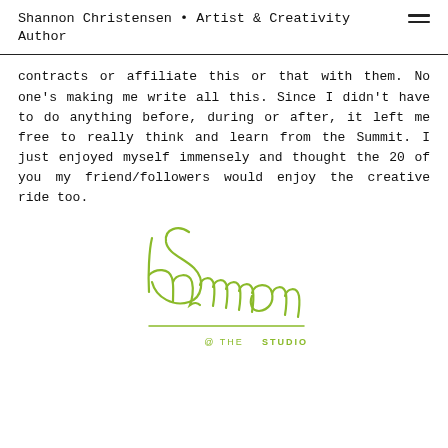Shannon Christensen • Artist & Creativity Author
contracts or affiliate this or that with them. No one's making me write all this. Since I didn't have to do anything before, during or after, it left me free to really think and learn from the Summit. I just enjoyed myself immensely and thought the 20 of you my friend/followers would enjoy the creative ride too.
[Figure (illustration): Shannon @ The Studio cursive signature logo in olive/yellow-green color]